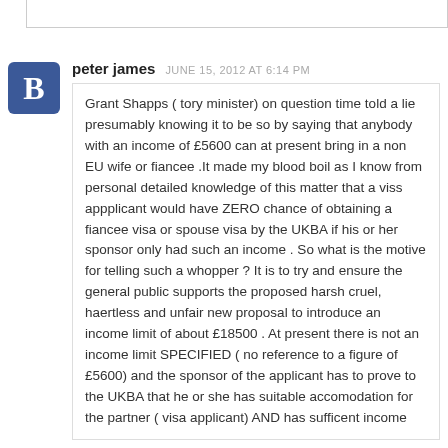peter james   JUNE 15, 2012 AT 6:14 PM

Grant Shapps ( tory minister) on question time told a lie presumably knowing it to be so by saying that anybody with an income of £5600 can at present bring in a non EU wife or fiancee .It made my blood boil as I know from personal detailed knowledge of this matter that a viss appplicant would have ZERO chance of obtaining a fiancee visa or spouse visa by the UKBA if his or her sponsor only had such an income . So what is the motive for telling such a whopper ? It is to try and ensure the general public supports the proposed harsh cruel, haertless and unfair new proposal to introduce an income limit of about £18500 . At present there is not an income limit SPECIFIED ( no reference to a figure of £5600) and the sponsor of the applicant has to prove to the UKBA that he or she has suitable accomodation for the partner ( visa applicant) AND has sufficent income